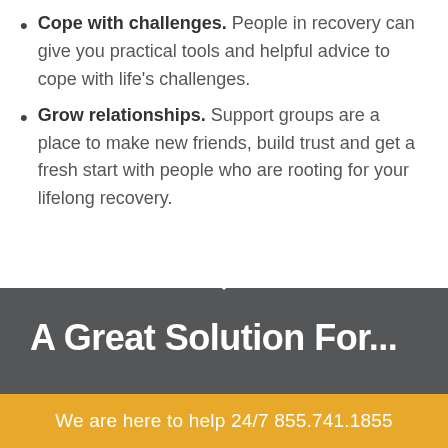Cope with challenges. People in recovery can give you practical tools and helpful advice to cope with life's challenges.
Grow relationships. Support groups are a place to make new friends, build trust and get a fresh start with people who are rooting for your lifelong recovery.
A Great Solution For...
We are here to help 24/7 855.741.1855